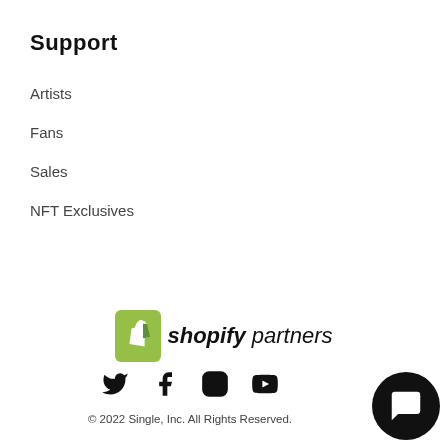Support
Artists
Fans
Sales
NFT Exclusives
[Figure (logo): Shopify Partners logo with green shopping bag icon and text 'shopify partners']
[Figure (infographic): Social media icons: Twitter, Facebook, Instagram, YouTube]
© 2022 Single, Inc. All Rights Reserved.
[Figure (infographic): Chat bubble button in bottom right corner]